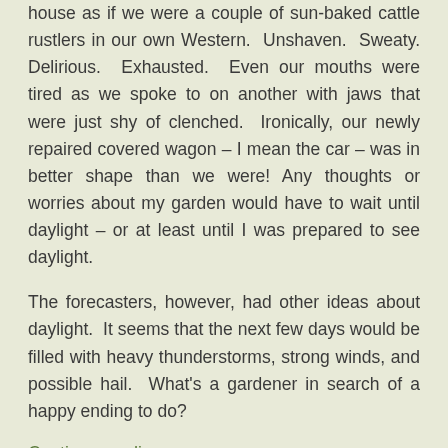house as if we were a couple of sun-baked cattle rustlers in our own Western. Unshaven. Sweaty. Delirious. Exhausted. Even our mouths were tired as we spoke to on another with jaws that were just shy of clenched. Ironically, our newly repaired covered wagon – I mean the car – was in better shape than we were! Any thoughts or worries about my garden would have to wait until daylight – or at least until I was prepared to see daylight.
The forecasters, however, had other ideas about daylight. It seems that the next few days would be filled with heavy thunderstorms, strong winds, and possible hail. What's a gardener in search of a happy ending to do?
Continue reading →